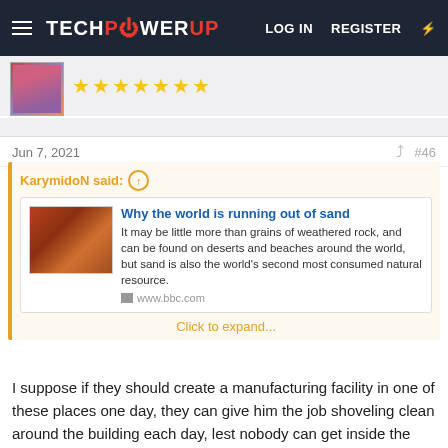TechPowerUp — LOG IN  REGISTER
[Figure (screenshot): User avatar thumbnail — stylized female illustration]
★★★★★★★
Jun 7, 2021   #46
KarymidoN said: ↑
Why the world is running out of sand
It may be little more than grains of weathered rock, and can be found on deserts and beaches around the world, but sand is also the world's second most consumed natural resource.
www.bbc.com
Click to expand...
I suppose if they should create a manufacturing facility in one of these places one day, they can give him the job shoveling clean around the building each day, lest nobody can get inside the building to work due to sheer amounts of the stuff being shifted on a daily basis, he will curse so much he would quit after the